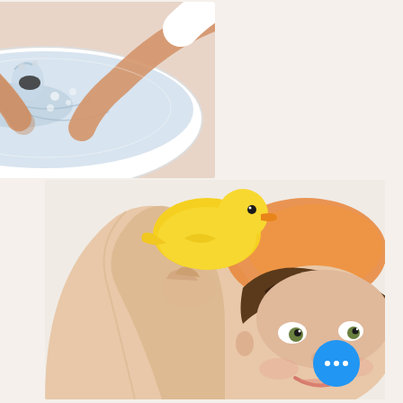[Figure (photo): Close-up photo of adult hands washing a baby in a white basin/tub with water splashing, viewed from above.]
[Figure (photo): Photo of a smiling toddler with wet hair holding up a yellow rubber duck toy in a bathtub. The baby looks at the camera with a cheerful expression. An orange sponge is visible in the background. A white circular up-arrow navigation button and a blue circular more-options button (three dots) are overlaid on the image.]